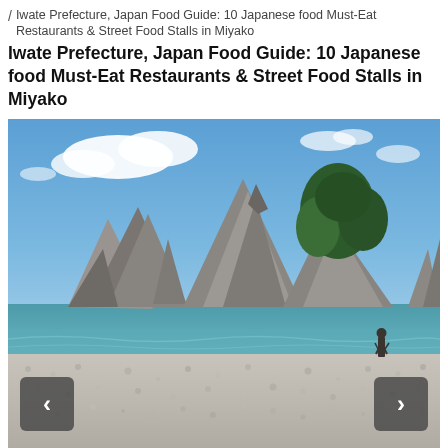/ Iwate Prefecture, Japan Food Guide: 10 Japanese food Must-Eat Restaurants & Street Food Stalls in Miyako
Iwate Prefecture, Japan Food Guide: 10 Japanese food Must-Eat Restaurants & Street Food Stalls in Miyako
[Figure (photo): Scenic coastal photo of Jodogahama beach in Miyako, Iwate Prefecture, Japan. Rocky limestone formations and a tree-covered island in calm teal water under a partly cloudy blue sky. A person stands on the white pebble beach in the foreground.]